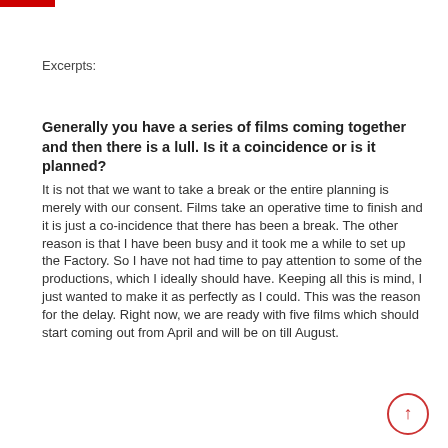Excerpts:
Generally you have a series of films coming together and then there is a lull. Is it a coincidence or is it planned?
It is not that we want to take a break or the entire planning is merely with our consent. Films take an operative time to finish and it is just a co-incidence that there has been a break. The other reason is that I have been busy and it took me a while to set up the Factory. So I have not had time to pay attention to some of the productions, which I ideally should have. Keeping all this is mind, I just wanted to make it as perfectly as I could. This was the reason for the delay. Right now, we are ready with five films which should start coming out from April and will be on till August.